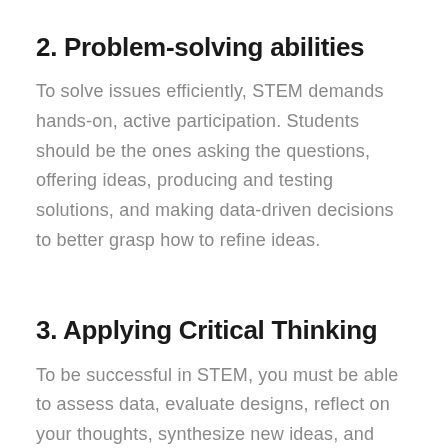2. Problem-solving abilities
To solve issues efficiently, STEM demands hands-on, active participation. Students should be the ones asking the questions, offering ideas, producing and testing solutions, and making data-driven decisions to better grasp how to refine ideas.
3. Applying Critical Thinking
To be successful in STEM, you must be able to assess data, evaluate designs, reflect on your thoughts, synthesize new ideas, and propose